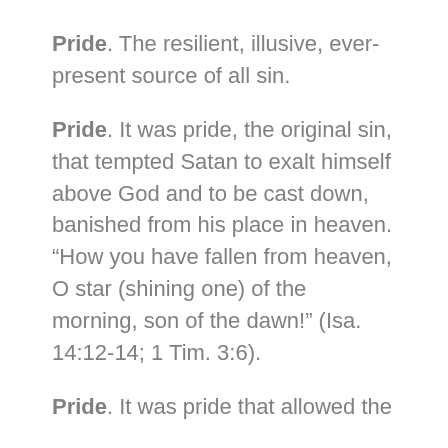Pride. The resilient, illusive, ever-present source of all sin.
Pride. It was pride, the original sin, that tempted Satan to exalt himself above God and to be cast down, banished from his place in heaven. “How you have fallen from heaven, O star (shining one) of the morning, son of the dawn!” (Isa. 14:12-14; 1 Tim. 3:6).
Pride. It was pride that allowed the